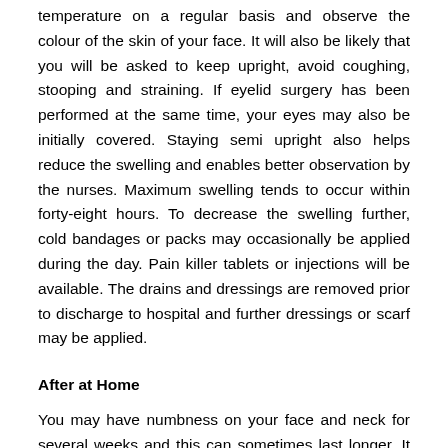temperature on a regular basis and observe the colour of the skin of your face. It will also be likely that you will be asked to keep upright, avoid coughing, stooping and straining. If eyelid surgery has been performed at the same time, your eyes may also be initially covered. Staying semi upright also helps reduce the swelling and enables better observation by the nurses. Maximum swelling tends to occur within forty-eight hours. To decrease the swelling further, cold bandages or packs may occasionally be applied during the day. Pain killer tablets or injections will be available. The drains and dressings are removed prior to discharge to hospital and further dressings or scarf may be applied.
After at Home
You may have numbness on your face and neck for several weeks and this can sometimes last longer. It is important again to avoid any bending or heavy lifting for two weeks following surgery. You should not smoke, not take alcohol